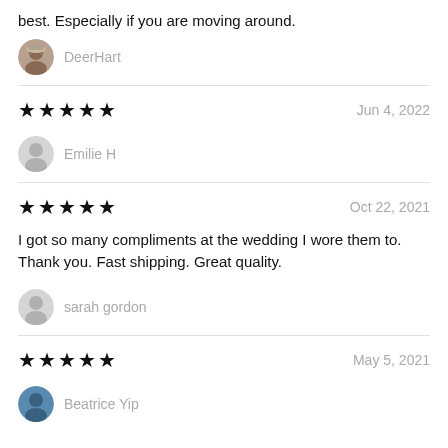best. Especially if you are moving around.
DeerHart
★★★★★  Jun 4, 2022
Emilie H
★★★★★  Oct 22, 2021
I got so many compliments at the wedding I wore them to. Thank you. Fast shipping. Great quality.
sarah gordon
★★★★★  May 5, 2021
Beatrice Yip